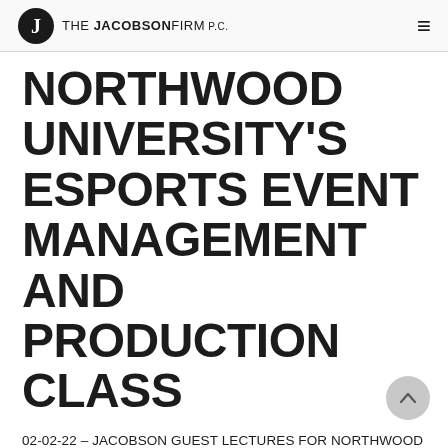THE JACOBSON FIRM, P.C.
NORTHWOOD UNIVERSITY'S ESPORTS EVENT MANAGEMENT AND PRODUCTION CLASS
02-02-22 – JACOBSON GUEST LECTURES FOR NORTHWOOD UNIVERSITY'S ESPORTS EVENT MANAGEMENT AND PRODUCTION CLASS (New York, NY) – Justin M. Jacobson was a guest lecturer for the Esports Event...